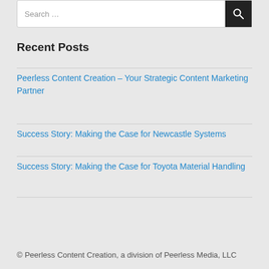Search ...
Recent Posts
Peerless Content Creation – Your Strategic Content Marketing Partner
Success Story: Making the Case for Newcastle Systems
Success Story: Making the Case for Toyota Material Handling
© Peerless Content Creation, a division of Peerless Media, LLC